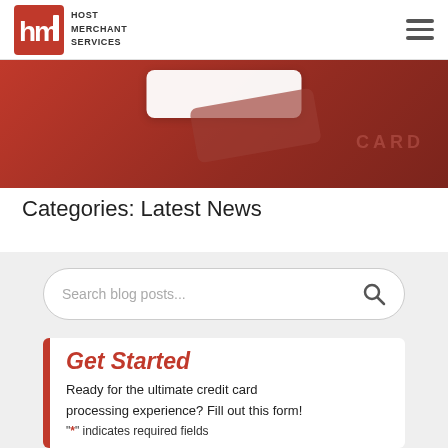Host Merchant Services
[Figure (photo): Red background hero image with credit card keyboard imagery]
Categories: Latest News
Search blog posts...
Get Started
Ready for the ultimate credit card processing experience? Fill out this form!
"*" indicates required fields